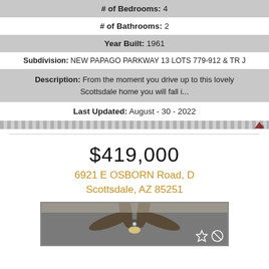# of Bedrooms: 4
# of Bathrooms: 2
Year Built: 1961
Subdivision: NEW PAPAGO PARKWAY 13 LOTS 779-912 & TR J
Description: From the moment you drive up to this lovely Scottsdale home you will fall i...
Last Updated: August - 30 - 2022
$419,000
6921 E OSBORN Road, D
Scottsdale, AZ 85251
[Figure (photo): Interior photo of a room with ceiling fan]